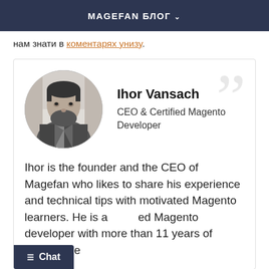MAGEFAN БЛОГ
нам знати в коментарях унизу.
[Figure (photo): Author card with circular black-and-white photo of Ihor Vansach, large decorative quotation mark in background, name, title, and biography text.]
Ihor Vansach
CEO & Certified Magento Developer
Ihor is the founder and the CEO of Magefan who likes to share his experience and technical tips with motivated Magento learners. He is a certified Magento developer with more than 11 years of experience